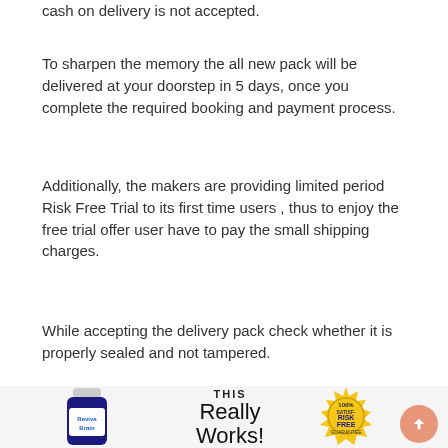cash on delivery is not accepted.
To sharpen the memory the all new pack will be delivered at your doorstep in 5 days, once you complete the required booking and payment process.
Additionally, the makers are providing limited period Risk Free Trial to its first time users , thus to enjoy the free trial offer user have to pay the small shipping charges.
While accepting the delivery pack check whether it is properly sealed and not tampered.
[Figure (photo): Product image of Reviva Brain supplement bottle, 'THIS Really Works!' cursive text in center, and a gold 100% Satisfaction Risk Free Guarantee badge on the right. A salmon/coral back-to-top arrow button is at the bottom right.]